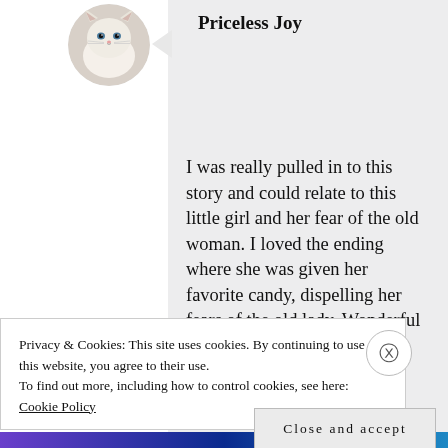Priceless Joy
I was really pulled in to this story and could relate to this little girl and her fear of the old woman. I loved the ending where she was given her favorite candy, dispelling her fears of the old lady. Wonderful story,
Privacy & Cookies: This site uses cookies. By continuing to use this website, you agree to their use.
To find out more, including how to control cookies, see here: Cookie Policy
Close and accept